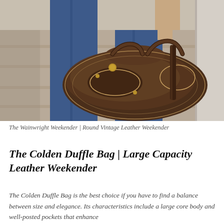[Figure (photo): A man standing on stone steps outdoors, holding a large round dark brown vintage leather duffle bag with two top handles and multiple zip pockets and decorative stitching. The man is wearing blue jeans. Background shows stone columns and steps.]
The Wainwright Weekender | Round Vintage Leather Weekender
The Colden Duffle Bag | Large Capacity Leather Weekender
The Colden Duffle Bag is the best choice if you have to find a balance between size and elegance. Its characteristics include a large core body and well-posted pockets that enhance